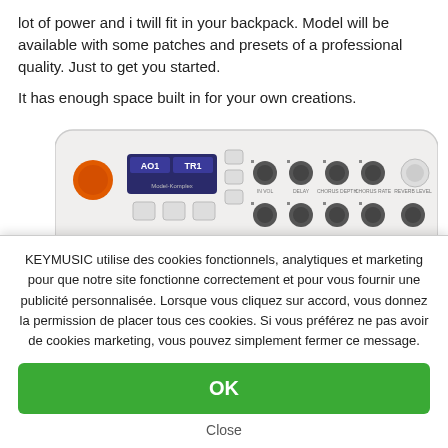lot of power and i twill fit in your backpack. Model will be available with some patches and presets of a professional quality. Just to get you started.

It has enough space built in for your own creations.
[Figure (photo): Photo of a white electronic synthesizer/keyboard hardware unit (Model Komplex) with knobs, buttons, a small display showing 'AO1' and 'TR1', and an orange power button.]
KEYMUSIC utilise des cookies fonctionnels, analytiques et marketing pour que notre site fonctionne correctement et pour vous fournir une publicité personnalisée. Lorsque vous cliquez sur accord, vous donnez la permission de placer tous ces cookies. Si vous préférez ne pas avoir de cookies marketing, vous pouvez simplement fermer ce message.
OK
Close